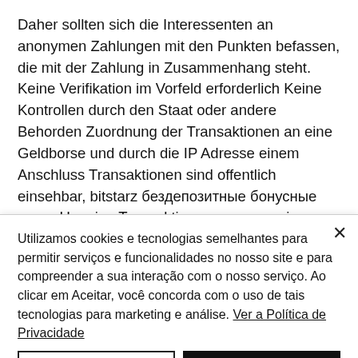Daher sollten sich die Interessenten an anonymen Zahlungen mit den Punkten befassen, die mit der Zahlung in Zusammenhang steht. Keine Verifikation im Vorfeld erforderlich Keine Kontrollen durch den Staat oder andere Behorden Zuordnung der Transaktionen an eine Geldborse und durch die IP Adresse einem Anschluss Transaktionen sind offentlich einsehbar, bitstarz бездепозитные бонусные коды. Um eine Transaktion so anonym wir moglich zu halten, empfiehlt sich keine
Utilizamos cookies e tecnologias semelhantes para permitir serviços e funcionalidades no nosso site e para compreender a sua interação com o nosso serviço. Ao clicar em Aceitar, você concorda com o uso de tais tecnologias para marketing e análise. Ver a Política de Privacidade
Definições de Cookies
Aceitar